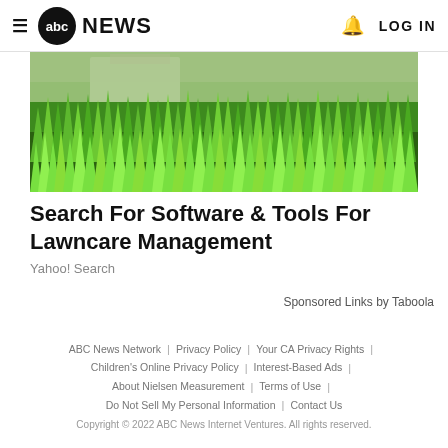abc NEWS | LOG IN
[Figure (photo): Close-up photo of lush green grass with a house visible in the background]
Search For Software & Tools For Lawncare Management
Yahoo! Search
Sponsored Links by Taboola
ABC News Network | Privacy Policy | Your CA Privacy Rights | Children's Online Privacy Policy | Interest-Based Ads | About Nielsen Measurement | Terms of Use | Do Not Sell My Personal Information | Contact Us
Copyright © 2022 ABC News Internet Ventures. All rights reserved.